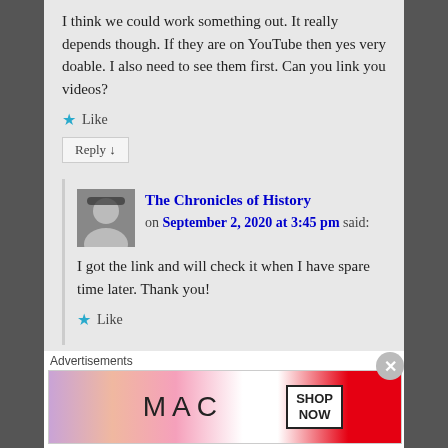I think we could work something out. It really depends though. If they are on YouTube then yes very doable. I also need to see them first. Can you link you videos?
★ Like
Reply ↓
The Chronicles of History on September 2, 2020 at 3:45 pm said:
I got the link and will check it when I have spare time later. Thank you!
★ Like
Advertisements
[Figure (photo): MAC cosmetics advertisement showing lipsticks, MAC logo, and SHOP NOW button]